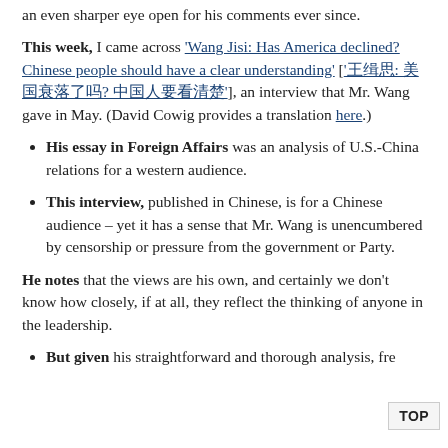an even sharper eye open for his comments ever since.
This week, I came across 'Wang Jisi: Has America declined? Chinese people should have a clear understanding' ['王缉思: 美国衰落了吗? 中国人要看清楚'], an interview that Mr. Wang gave in May. (David Cowig provides a translation here.)
His essay in Foreign Affairs was an analysis of U.S.-China relations for a western audience.
This interview, published in Chinese, is for a Chinese audience – yet it has a sense that Mr. Wang is unencumbered by censorship or pressure from the government or Party.
He notes that the views are his own, and certainly we don't know how closely, if at all, they reflect the thinking of anyone in the leadership.
But given his straightforward and thorough analysis, fre